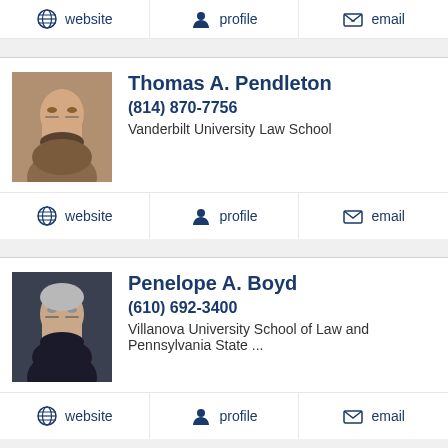website | profile | email (top bar, partial)
[Figure (photo): Headshot of Thomas A. Pendleton, a man with glasses and light brown hair, smiling, wearing a suit]
Thomas A. Pendleton
(814) 870-7756
Vanderbilt University Law School
website | profile | email
[Figure (photo): Headshot of Penelope A. Boyd, an older woman with short gray hair and glasses, wearing a dark top]
Penelope A. Boyd
(610) 692-3400
Villanova University School of Law and Pennsylvania State ...
website | profile | email
[Figure (photo): Headshot of Rebecca A Young, a woman with short blonde hair, smiling]
Rebecca A Young
Villanova University School of Law